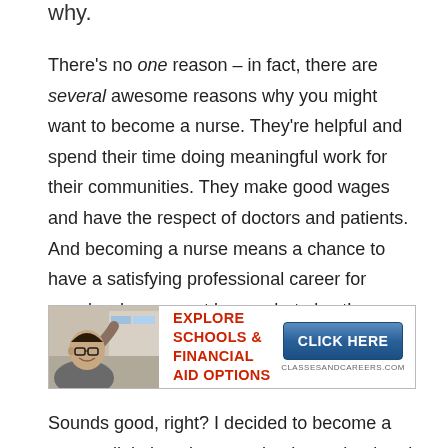Why.
There's no one reason – in fact, there are several awesome reasons why you might want to become a nurse. They're helpful and spend their time doing meaningful work for their communities. They make good wages and have the respect of doctors and patients. And becoming a nurse means a chance to have a satisfying professional career for people who may not know what else they want to do with their lives.
[Figure (infographic): Advertisement banner for ClassesAndCareers.com showing a young man with glasses, text 'EXPLORE SCHOOLS & FINANCIAL AID OPTIONS' in red, and a blue 'CLICK HERE' button.]
Sounds good, right? I decided to become a nurse a little late, but went back to school and got my degree and